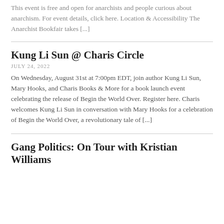This event is free and open for anarchists and people curious about anarchism. For event details, click here. Location & Accessibility The Anarchist Bookfair takes [...]
Kung Li Sun @ Charis Circle
JULY 24, 2022
On Wednesday, August 31st at 7:00pm EDT, join author Kung Li Sun, Mary Hooks, and Charis Books & More for a book launch event celebrating the release of Begin the World Over. Register here. Charis welcomes Kung Li Sun in conversation with Mary Hooks for a celebration of Begin the World Over, a revolutionary tale of [...]
Gang Politics: On Tour with Kristian Williams